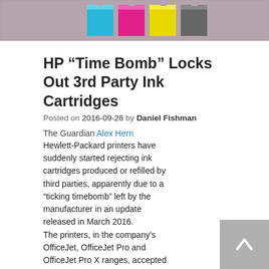[Figure (illustration): Website header banner with gray/mauve background and colored ink cartridge bars (cyan, magenta, yellow, dark gray) arranged like printer ink slots]
HP “Time Bomb” Locks Out 3rd Party Ink Cartridges
Posted on 2016-09-26 by Daniel Fishman
The Guardian Alex Hern
Hewlett-Packard printers have suddenly started rejecting ink cartridges produced or refilled by third parties, apparently due to a “ticking timebomb” left by the manufacturer in an update released in March 2016. The printers, in the company’s OfficeJet, OfficeJet Pro and OfficeJet Pro X ranges, accepted refills made by third-parties and sold at a significantly lower price than the official ink made and sold by HP itself. But on 13 September, the printers began to reject those refills, with error messages including “cartridge problem”, “one or more cartridges are missing or damaged” and “older generation cartridge”. Adding insult to injury, the printers themselves have not received a software update recently, suggesting that the last update, six